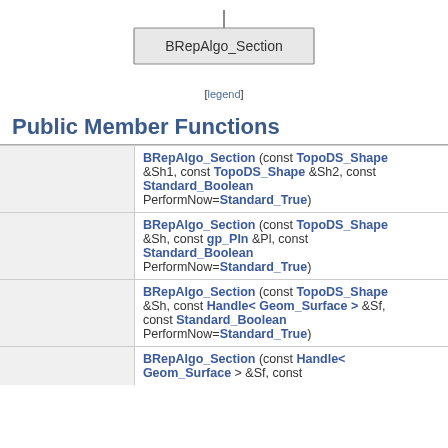[Figure (organizational-chart): Inheritance diagram showing BRepAlgo_Section class node connected by a vertical line from above]
[legend]
Public Member Functions
|  | Function |
| --- | --- |
|  | BRepAlgo_Section (const TopoDS_Shape &Sh1, const TopoDS_Shape &Sh2, const Standard_Boolean PerformNow=Standard_True) |
|  | BRepAlgo_Section (const TopoDS_Shape &Sh, const gp_Pln &Pl, const Standard_Boolean PerformNow=Standard_True) |
|  | BRepAlgo_Section (const TopoDS_Shape &Sh, const Handle< Geom_Surface > &Sf, const Standard_Boolean PerformNow=Standard_True) |
|  | BRepAlgo_Section (const Handle< Geom_Surface > &Sf, const ... |